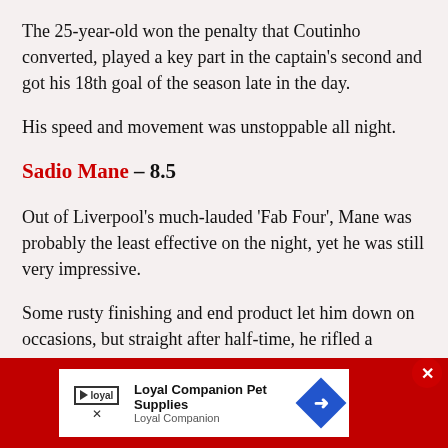The 25-year-old won the penalty that Coutinho converted, played a key part in the captain's second and got his 18th goal of the season late in the day.
His speed and movement was unstoppable all night.
Sadio Mane – 8.5
Out of Liverpool's much-lauded 'Fab Four', Mane was probably the least effective on the night, yet he was still very impressive.
Some rusty finishing and end product let him down on occasions, but straight after half-time, he rifled a
[Figure (other): Advertisement banner for Loyal Companion Pet Supplies with logo, text, and blue diamond arrow icon on a red background]